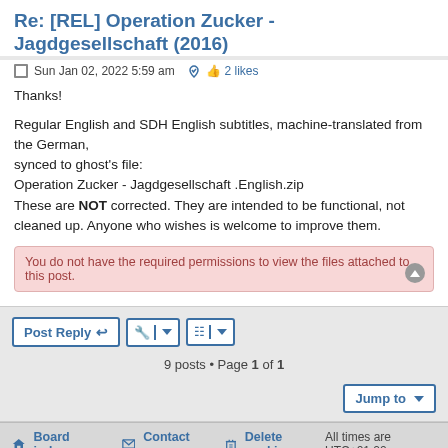Re: [REL] Operation Zucker - Jagdgesellschaft (2016)
Sun Jan 02, 2022 5:59 am  👍 2 likes
Thanks!

Regular English and SDH English subtitles, machine-translated from the German,
synced to ghost's file:
Operation Zucker - Jagdgesellschaft .English.zip
These are NOT corrected. They are intended to be functional, not cleaned up. Anyone who wishes is welcome to improve them.
You do not have the required permissions to view the files attached to this post.
Post Reply  🔧 |▾  📋 |▾
9 posts • Page 1 of 1
Jump to  |▾
🏠 Board index  ✉ Contact us  🗑 Delete cookies  All times are UTC+01:00
Powered by phpBB® Forum Software © phpBB Limited
Style by Arty - phpBB 3.3 by MrGaby
Privacy | Terms